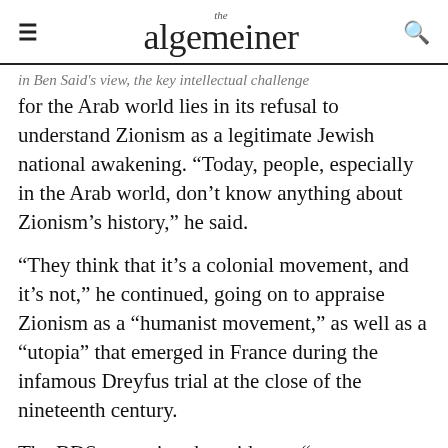the algemeiner
in Ben Said's view, the key intellectual challenge for the Arab world lies in its refusal to understand Zionism as a legitimate Jewish national awakening. “Today, people, especially in the Arab world, don’t know anything about Zionism’s history,” he said.
“They think that it’s a colonial movement, and it’s not,” he continued, going on to appraise Zionism as a “humanist movement,” as well as a “utopia” that emerged in France during the infamous Dreyfus trial at the close of the nineteenth century.
The BDS campaign, he said, was “not antisemitic in its motivations but became clearly antisemitic